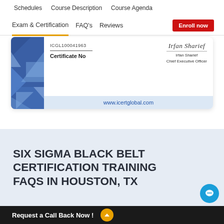Schedules   Course Description   Course Agenda
Exam & Certification   FAQ's   Reviews   Enroll now
[Figure (screenshot): Sample iCert Global certificate showing certificate number ICGL100041963, 'Certificate No' label, signature of Irfan Sharief, Chief Executive Officer, and www.icertglobal.com URL at the bottom]
SIX SIGMA BLACK BELT CERTIFICATION TRAINING FAQS IN HOUSTON, TX
Request a Call Back Now !